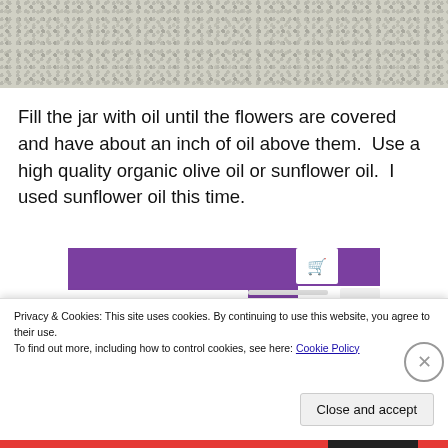[Figure (photo): Close-up photo of a light-colored grainy or sandy texture, likely salt or rice or ground material, forming the top strip of the page.]
Fill the jar with oil until the flowers are covered and have about an inch of oil above them.  Use a high quality organic olive oil or sunflower oil.  I used sunflower oil this time.
[Figure (screenshot): Partial screenshot of a website/app advertisement banner with purple background, a shopping cart icon, a 'Start a new store' button, and an 'Aa' text icon on the right.]
Privacy & Cookies: This site uses cookies. By continuing to use this website, you agree to their use.
To find out more, including how to control cookies, see here: Cookie Policy
Close and accept